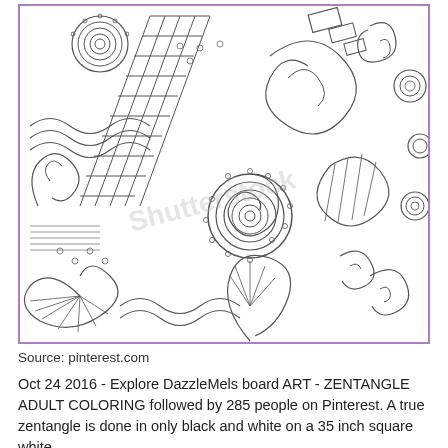[Figure (illustration): A detailed zentangle / adult coloring page illustration with intricate black and white line art featuring swirls, spirals, flowers, geometric patterns, and organic shapes. A faint watermark reads 'Shutterstock'. The image is framed with a purple/violet border.]
Source: pinterest.com
Oct 24 2016 - Explore DazzleMels board ART - ZENTANGLE ADULT COLORING followed by 285 people on Pinterest. A true zentangle is done in only black and white on a 35 inch square white